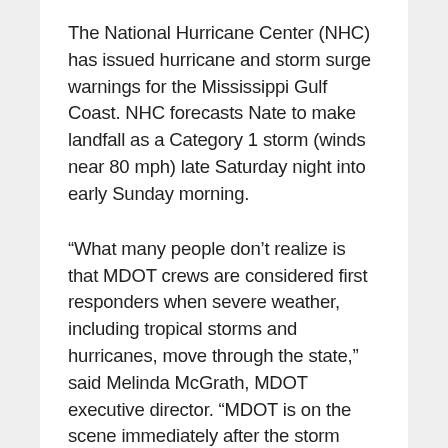The National Hurricane Center (NHC) has issued hurricane and storm surge warnings for the Mississippi Gulf Coast. NHC forecasts Nate to make landfall as a Category 1 storm (winds near 80 mph) late Saturday night into early Sunday morning.
“What many people don’t realize is that MDOT crews are considered first responders when severe weather, including tropical storms and hurricanes, move through the state,” said Melinda McGrath, MDOT executive director. “MDOT is on the scene immediately after the storm passes to remove debris from affected roadways and clear a path for emergency, law enforcement and disaster relief personnel.”
MDOT began preparing response efforts Thursday. Crews throughout South Mississippi are stocking supplies and traffic control trailers, fueling vehicles and